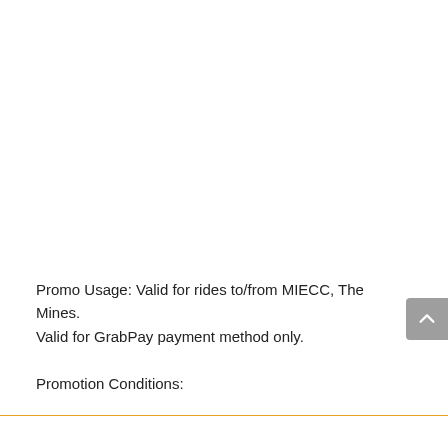Promo Usage: Valid for rides to/from MIECC, The Mines. Valid for GrabPay payment method only.
Promotion Conditions: